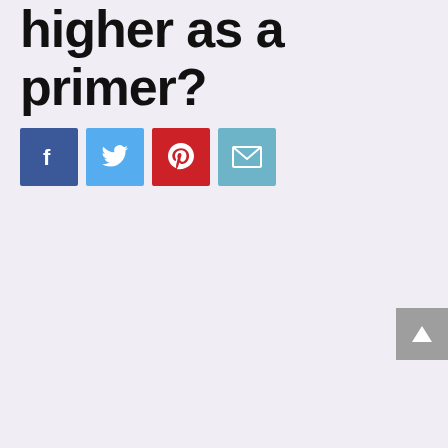higher as a primer?
[Figure (other): Four social share buttons: Facebook (blue), Twitter (light blue), Pinterest (red), Email (teal/cyan)]
[Figure (other): Scroll-to-top button (grey arrow up) in bottom right corner]